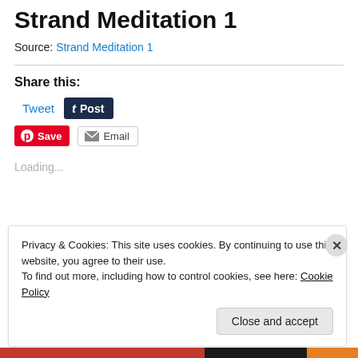Strand Meditation 1
Source: Strand Meditation 1
Share this:
Tweet | Post | Save | Email
Loading...
Privacy & Cookies: This site uses cookies. By continuing to use this website, you agree to their use.
To find out more, including how to control cookies, see here: Cookie Policy